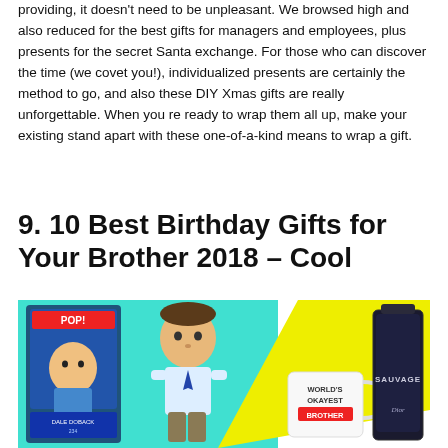providing, it doesn't need to be unpleasant. We browsed high and also reduced for the best gifts for managers and employees, plus presents for the secret Santa exchange. For those who can discover the time (we covet you!), individualized presents are certainly the method to go, and also these DIY Xmas gifts are really unforgettable. When you re ready to wrap them all up, make your existing stand apart with these one-of-a-kind means to wrap a gift.
9. 10 Best Birthday Gifts for Your Brother 2018 – Cool
[Figure (photo): Collage image showing birthday gifts for a brother: a Funko Pop figure (Dale Doback), a cartoon male figure, a 'World's Okayest Brother' mug, a Dior Sauvage cologne bottle, on a colorful background with cyan and yellow shapes.]